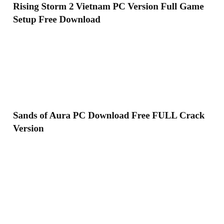Rising Storm 2 Vietnam PC Version Full Game Setup Free Download
Sands of Aura PC Download Free FULL Crack Version